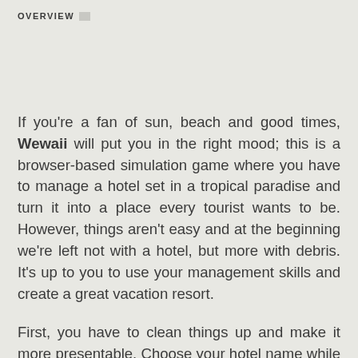OVERVIEW
If you're a fan of sun, beach and good times, Wewaii will put you in the right mood; this is a browser-based simulation game where you have to manage a hotel set in a tropical paradise and turn it into a place every tourist wants to be. However, things aren't easy and at the beginning we're left not with a hotel, but more with debris. It's up to you to use your management skills and create a great vacation resort.
First, you have to clean things up and make it more presentable. Choose your hotel name while you're at it. You're already spending money getting rid of the rubble, but you also can begin organizing things by